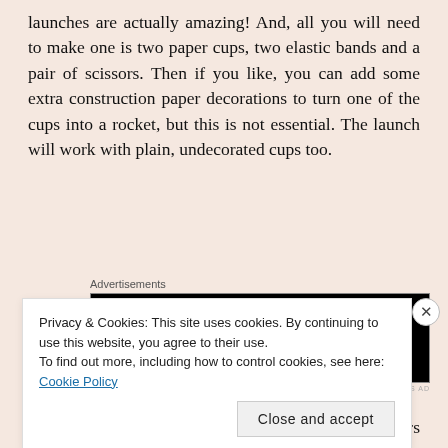launches are actually amazing! And, all you will need to make one is two paper cups, two elastic bands and a pair of scissors. Then if you like, you can add some extra construction paper decorations to turn one of the cups into a rocket, but this is not essential. The launch will work with plain, undecorated cups too.
[Figure (screenshot): Advertisement box with black background showing Longreads logo (red circle L icon) and text 'Read anything great lately?' in white italic font. Below is 'REPORT THIS AD' in small gray text.]
This craft is perfect for kids of all ages. Preschoolers will
Privacy & Cookies: This site uses cookies. By continuing to use this website, you agree to their use.
To find out more, including how to control cookies, see here: Cookie Policy